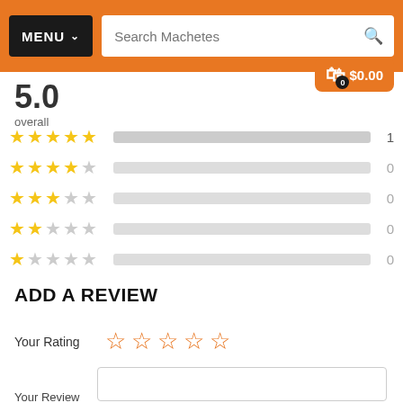MENU | Search Machetes | Cart $0.00
5.0 overall
[Figure (infographic): Rating distribution bar chart showing 5-star=1, 4-star=0, 3-star=0, 2-star=0, 1-star=0]
ADD A REVIEW
Your Rating (5 empty orange star outlines)
Your Review (text input box)